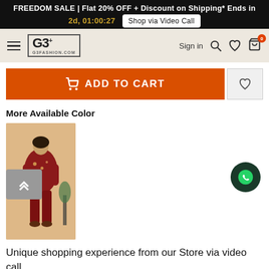FREEDOM SALE | Flat 20% OFF + Discount on Shipping* Ends in 2d, 01:00:27  Shop via Video Call
[Figure (screenshot): G3Fashion.com website navigation bar with hamburger menu, G3+ logo, Sign in, search, wishlist and cart (0 items) icons on a beige background]
[Figure (screenshot): Orange ADD TO CART button with shopping cart icon, and a wishlist heart button]
More Available Color
[Figure (photo): Woman wearing a red floral printed kurta with matching red pants, standing against a beige background]
[Figure (screenshot): WhatsApp chat button (dark circle with green WhatsApp icon)]
Unique shopping experience from our Store via video call.
[Figure (screenshot): BOOK APPOINTMENT teal button]